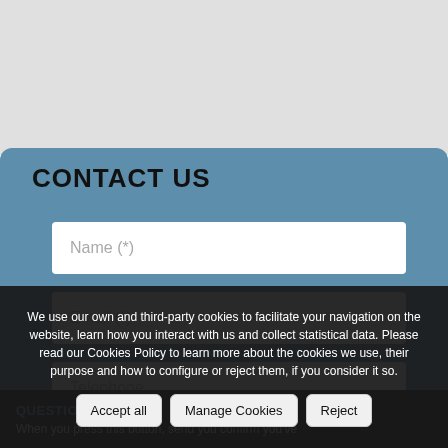CONTACT US
Name (*)
Email (*)
Telephone
We use our own and third-party cookies to facilitate your navigation on the website, learn how you interact with us and collect statistical data. Please read our Cookies Policy to learn more about the cookies we use, their purpose and how to configure or reject them, if you consider it so.
Accept all | Manage Cookies | Reject
QUESTION?
When you press this button, send you confirm you've